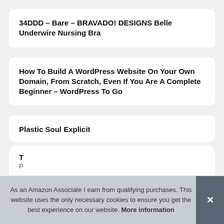34DDD – Bare – BRAVADO! DESIGNS Belle Underwire Nursing Bra
How To Build A WordPress Website On Your Own Domain, From Scratch, Even If You Are A Complete Beginner – WordPress To Go
Plastic Soul Explicit
As an Amazon Associate I earn from qualifying purchases. This website uses the only necessary cookies to ensure you get the best experience on our website. More information